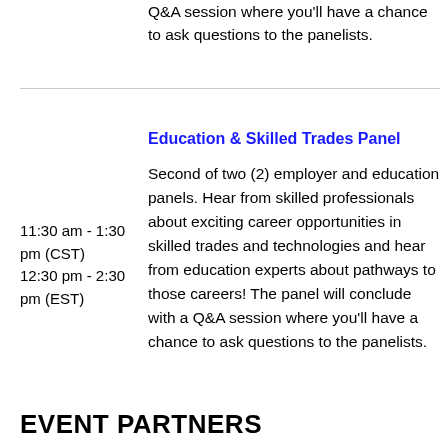Q&A session where you'll have a chance to ask questions to the panelists.
Education & Skilled Trades Panel
11:30 am - 1:30 pm (CST)
12:30 pm - 2:30 pm (EST)
Second of two (2) employer and education panels. Hear from skilled professionals about exciting career opportunities in skilled trades and technologies and hear from education experts about pathways to those careers! The panel will conclude with a Q&A session where you'll have a chance to ask questions to the panelists.
EVENT PARTNERS